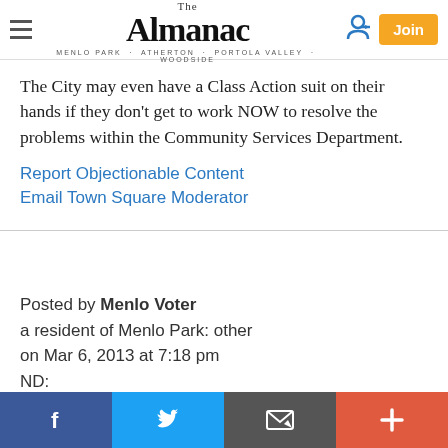The Almanac — MENLO PARK · ATHERTON · PORTOLA VALLEY · WOODSIDE
The City may even have a Class Action suit on their hands if they don't get to work NOW to resolve the problems within the Community Services Department.
Report Objectionable Content
Email Town Square Moderator
Posted by Menlo Voter
a resident of Menlo Park: other
on Mar 6, 2013 at 7:18 pm
ND:
except as best anyone can tell no complaint had been yet lodged. The rumour being that the teacher was